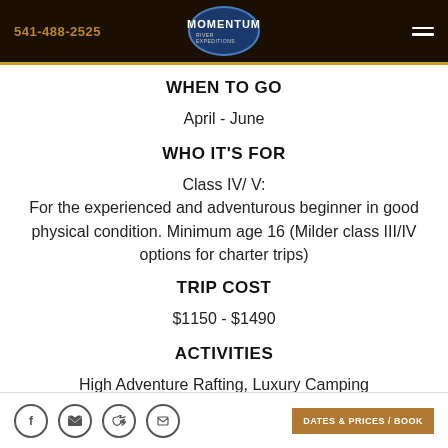541-488-2525 | Momentum River Expeditions
WHEN TO GO
April - June
WHO IT'S FOR
Class IV/ V:
For the experienced and adventurous beginner in good physical condition. Minimum age 16 (Milder class III/IV options for charter trips)
TRIP COST
$1150 - $1490
ACTIVITIES
High Adventure Rafting, Luxury Camping
DATES & PRICES / BOOK